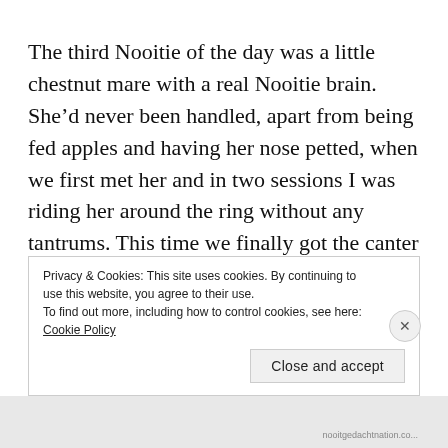The third Nooitie of the day was a little chestnut mare with a real Nooitie brain. She'd never been handled, apart from being fed apples and having her nose petted, when we first met her and in two sessions I was riding her around the ring without any tantrums. This time we finally got the canter on the correct leg all the way around the arena, once on each rein. Canter has been a bit of a sticky point for her; she is a laid-back slowpoke
Privacy & Cookies: This site uses cookies. By continuing to use this website, you agree to their use.
To find out more, including how to control cookies, see here: Cookie Policy
Close and accept